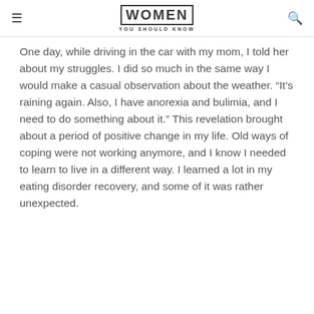WOMEN YOU SHOULD KNOW
One day, while driving in the car with my mom, I told her about my struggles. I did so much in the same way I would make a casual observation about the weather. “It’s raining again. Also, I have anorexia and bulimia, and I need to do something about it.” This revelation brought about a period of positive change in my life. Old ways of coping were not working anymore, and I know I needed to learn to live in a different way. I learned a lot in my eating disorder recovery, and some of it was rather unexpected.